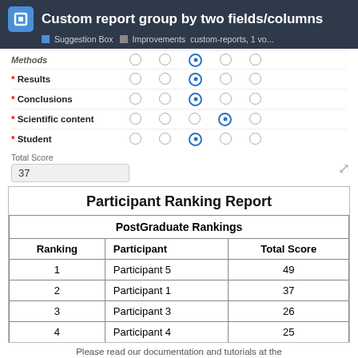Custom report group by two fields/columns — Suggestion Box | Improvements  custom-reports, 1 vo...
[Figure (screenshot): Form with radio button rows for Results, Conclusions, Scientific content, Student with selected options and Total Score of 37]
Participant Ranking Report
| Ranking | Participant | Total Score |
| --- | --- | --- |
| 1 | Participant 5 | 49 |
| 2 | Participant 1 | 37 |
| 3 | Participant 3 | 26 |
| 4 | Participant 4 | 25 |
Please read our documentation and tutorials at the KoboToolbox | Help Center